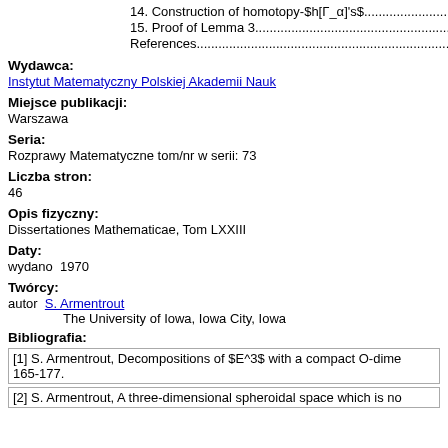14. Construction of homotopy-$h[Γ_α]'s$....................................
15. Proof of Lemma 3.................................................................
References................................................................................
Wydawca:
Instytut Matematyczny Polskiej Akademii Nauk
Miejsce publikacji:
Warszawa
Seria:
Rozprawy Matematyczne tom/nr w serii: 73
Liczba stron:
46
Opis fizyczny:
Dissertationes Mathematicae, Tom LXXIII
Daty:
wydano  1970
Twórcy:
autor  S. Armentrout
        The University of Iowa, Iowa City, Iowa
Bibliografia:
[1] S. Armentrout, Decompositions of $E^3$ with a compact O-dime 165-177.
[2] S. Armentrout, A three-dimensional spheroidal space which is no